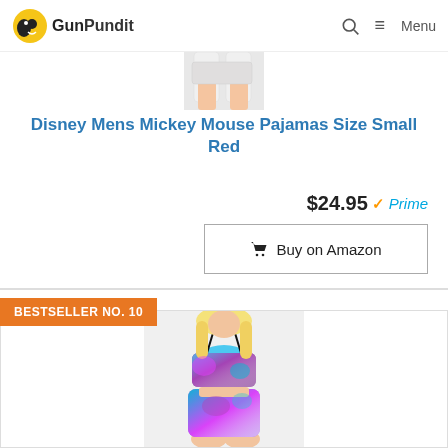GunPundit — Menu
[Figure (photo): Cropped image showing white pajama shorts/legs from above]
Disney Mens Mickey Mouse Pajamas Size Small Red
$24.95 Prime
Buy on Amazon
BESTSELLER NO. 10
[Figure (photo): Woman wearing colorful tie-dye purple and teal two-piece swimsuit/activewear set with spaghetti straps crop top and shorts]